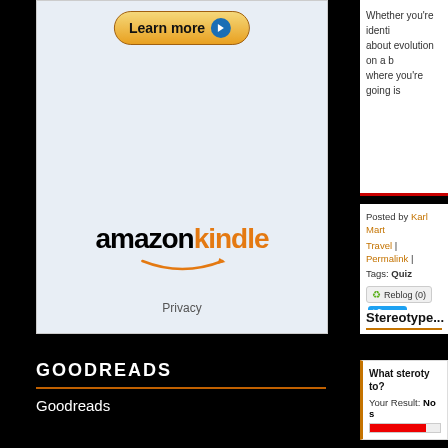[Figure (screenshot): Amazon Kindle 'Learn more' advertisement with button and logo, Privacy text at bottom, on light blue background]
GOODREADS
Goodreads
[Figure (screenshot): Plugin error message: Couldn't load plugin.]
Whether you're identi... about evolution on a b... where you're going is...
Posted by Karl Mart... Travel | Permalink | ...
Tags: Quiz
Reblog (0)  Twe...
Stereotype...
What steroty... to?
Your Result: No s...